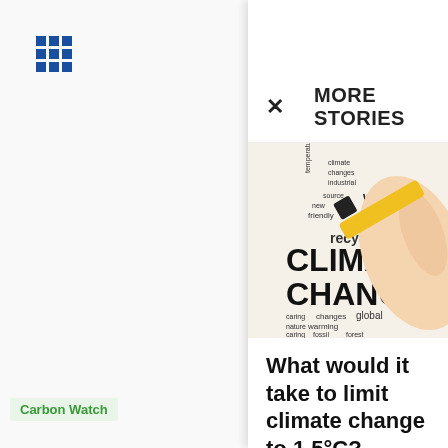ThinktoSustain
MORE STORIES
[Figure (photo): A hand holding a black marker writing 'CLIMATE CHANGE' surrounded by a word cloud of climate-related terms: weather, warming, recycling, eco, global, fossil, forest, temperature, science, friendly, changes, caring, nature]
Carbon Watch
What would it take to limit climate change to 1.5°C?
ThinktoSustain - May 24, 2015   0
Fiji Launches First Emerging Market Green Bond and Third in World